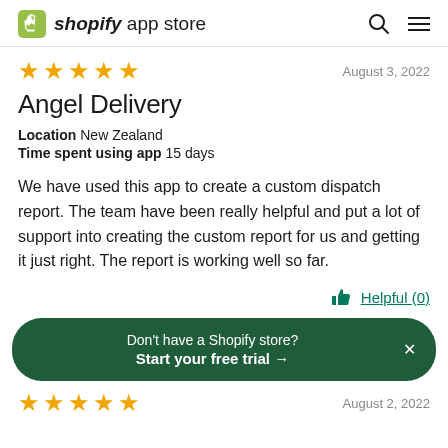shopify app store
★★★★★  August 3, 2022
Angel Delivery
Location  New Zealand
Time spent using app  15 days
We have used this app to create a custom dispatch report. The team have been really helpful and put a lot of support into creating the custom report for us and getting it just right. The report is working well so far.
Helpful (0)
Don't have a Shopify store?
Start your free trial →
★★★★★  August 2, 2022